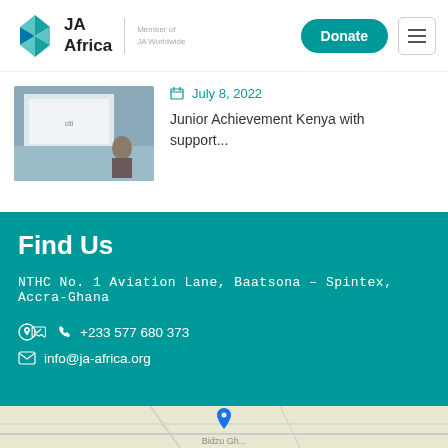[Figure (logo): JA Africa logo with diamond shape and 'Member of JA Worldwide' text]
July 8, 2022
Junior Achievement Kenya with support...
Find Us
NTHC No. 1 Aviation Lane, Baatsona – Spintex, Accra-Ghana
+233 577 680 373
info@ja-africa.org
[Figure (map): Google Maps embed showing location near Baatsona-Spintex area]